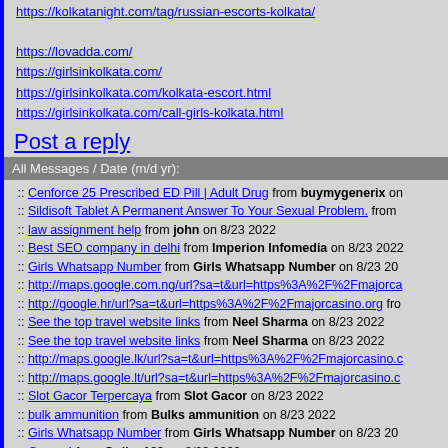https://kolkatanight.com/tag/russian-escorts-kolkata/
https://lovadda.com/
https://girlsinkolkata.com/
https://girlsinkolkata.com/kolkata-escort.html
https://girlsinkolkata.com/call-girls-kolkata.html
Post a reply
All Messages / Date (m/d yr):
Cenforce 25 Prescribed ED Pill | Adult Drug from buymygenerix on...
Sildisoft Tablet A Permanent Answer To Your Sexual Problem. from...
law assignment help from john on 8/23 2022
Best SEO company in delhi from Imperion Infomedia on 8/23 2022
Girls Whatsapp Number from Girls Whatsapp Number on 8/23 20...
http://maps.google.com.ng/url?sa=t&url=https%3A%2F%2Fmajorca...
http://google.hr/url?sa=t&url=https%3A%2F%2Fmajorcasino.org fro...
See the top travel website links from Neel Sharma on 8/23 2022
See the top travel website links from Neel Sharma on 8/23 2022
http://maps.google.lk/url?sa=t&url=https%3A%2F%2Fmajorcasino.c...
http://maps.google.lt/url?sa=t&url=https%3A%2F%2Fmajorcasino.c...
Slot Gacor Terpercaya from Slot Gacor on 8/23 2022
bulk ammunition from Bulks ammunition on 8/23 2022
Girls Whatsapp Number from Girls Whatsapp Number on 8/23 20...
Gacor 4 from Online138 on 8/23 2022
Gacor 3 from Online138 on 8/23 2022
Gacor from Online138 on 8/23 2022
Gacor 3 from Online138 on 8/23 2022
Gacor 2 from Online138 on 8/23 2022